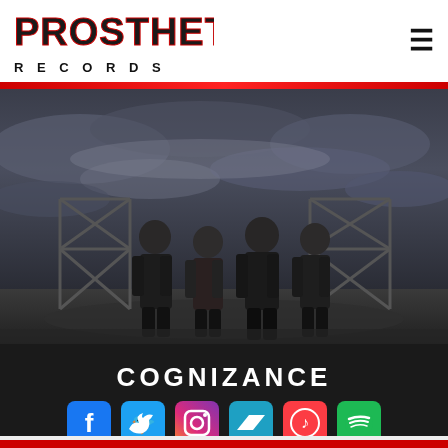PROSTHETIC RECORDS
[Figure (photo): Four band members standing in front of metal scaffolding structures under a dramatic cloudy sky, all dressed in dark clothing]
COGNIZANCE
[Figure (infographic): Social media icons: Facebook, Twitter, Instagram, Bandcamp, Apple Music, Spotify]